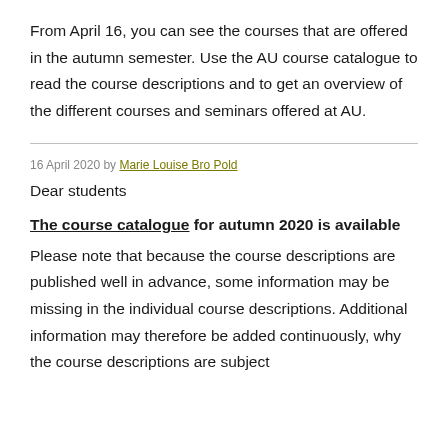From April 16, you can see the courses that are offered in the autumn semester. Use the AU course catalogue to read the course descriptions and to get an overview of the different courses and seminars offered at AU.
16 April 2020 by Marie Louise Bro Pold
Dear students
The course catalogue for autumn 2020 is available
Please note that because the course descriptions are published well in advance, some information may be missing in the individual course descriptions. Additional information may therefore be added continuously, why the course descriptions are subject